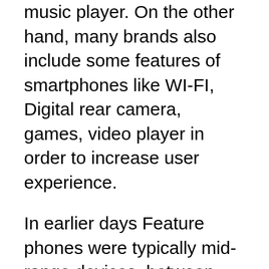music player. On the other hand, many brands also include some features of smartphones like WI-FI, Digital rear camera, games, video player in order to increase user experience.
In earlier days Feature phones were typically mid-range devices, between basic mobile telephones on the low end, with few or no features beyond basic calling and messaging, and business-oriented smartphones on the high end. The best-selling feature phones include those by Nokia, the Razr by Motorola, the multimedia-enabled Sony Ericsson W580i, and the LG Black Label Series that targeted retail customers.
These days main attraction to feature phones is their durability and extended battery life per one charge (viz standby and talk time). In emerging...